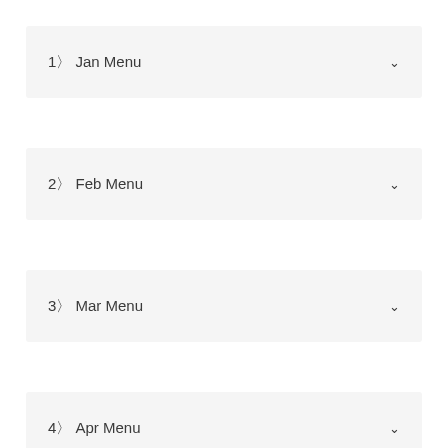1〉Jan Menu
2〉Feb Menu
3〉Mar Menu
4〉Apr Menu